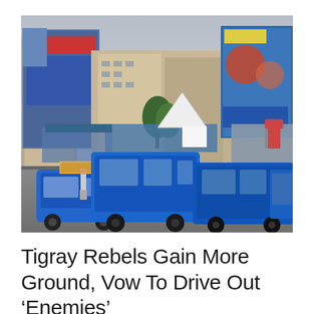[Figure (photo): Street scene in an Ethiopian city (likely Mekelle, Tigray) with multiple blue minibus taxis (bajaj auto-rickshaws and minivans) filling the foreground road. Large commercial buildings with billboards and signage in Amharic/Tigrinya script line the background. A white tent structure and market stalls are visible in the middle ground, along with green trees. Overcast sky above.]
Tigray Rebels Gain More Ground, Vow To Drive Out ‘Enemies’